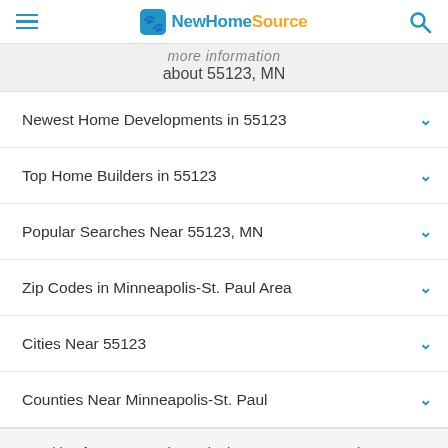NewHomeSource
More information about 55123, MN
Newest Home Developments in 55123
Top Home Builders in 55123
Popular Searches Near 55123, MN
Zip Codes in Minneapolis-St. Paul Area
Cities Near 55123
Counties Near Minneapolis-St. Paul
Looking for your next home in the 55123 area? Look no further. NewHomeSource.com has the largest selection of